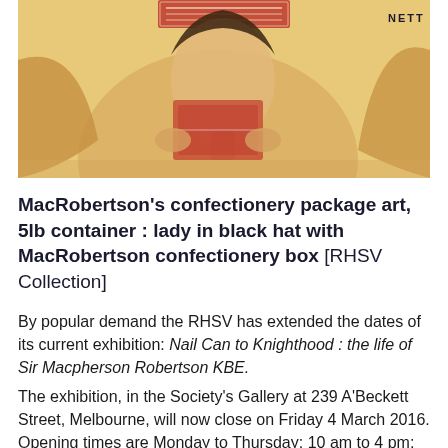[Figure (illustration): Partial view of a MacRobertson confectionery package art showing a lady in a black hat holding a confectionery box, yellow/golden tones, with 'NETT' text visible in upper right corner.]
MacRobertson's confectionery package art, 5lb container : lady in black hat with MacRobertson confectionery box [RHSV Collection]
By popular demand the RHSV has extended the dates of its current exhibition: Nail Can to Knighthood : the life of Sir Macpherson Robertson KBE.
The exhibition, in the Society's Gallery at 239 A'Beckett Street, Melbourne, will now close on Friday 4 March 2016. Opening times are Monday to Thursday: 10 am to 4 pm; Friday 10 am to 3 pm.
David Robertson, grandson of the well-known